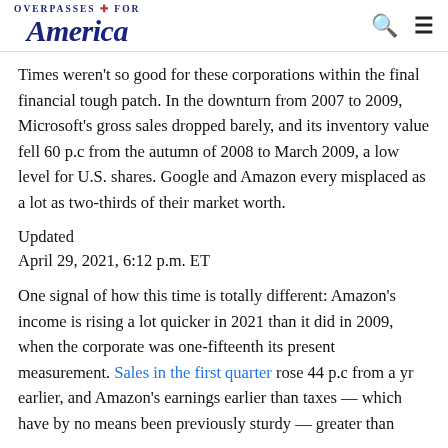OVERPASSES FOR America
Times weren't so good for these corporations within the final financial tough patch. In the downturn from 2007 to 2009, Microsoft's gross sales dropped barely, and its inventory value fell 60 p.c from the autumn of 2008 to March 2009, a low level for U.S. shares. Google and Amazon every misplaced as a lot as two-thirds of their market worth.
Updated
April 29, 2021, 6:12 p.m. ET
One signal of how this time is totally different: Amazon's income is rising a lot quicker in 2021 than it did in 2009, when the corporate was one-fifteenth its present measurement. Sales in the first quarter rose 44 p.c from a yr earlier, and Amazon's earnings earlier than taxes — which have by no means been previously sturdy — greater than